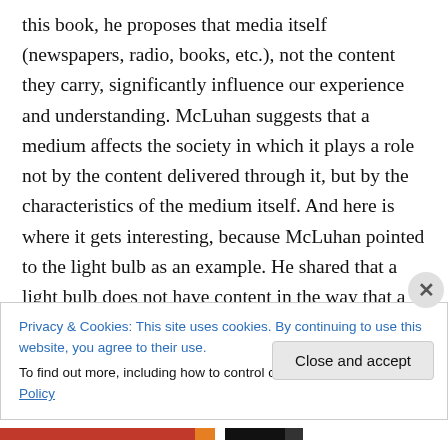this book, he proposes that media itself (newspapers, radio, books, etc.), not the content they carry, significantly influence our experience and understanding. McLuhan suggests that a medium affects the society in which it plays a role not by the content delivered through it, but by the characteristics of the medium itself. And here is where it gets interesting, because McLuhan pointed to the light bulb as an example. He shared that a light bulb does not have content in the way that a newspaper has articles or a television has programs, yet it is a medium that has a
Privacy & Cookies: This site uses cookies. By continuing to use this website, you agree to their use.
To find out more, including how to control cookies, see here: Cookie Policy
Close and accept